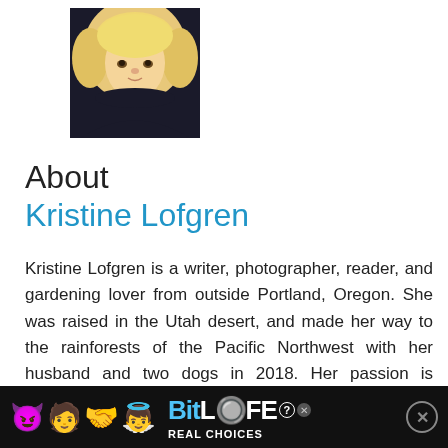[Figure (photo): Headshot photo of a young blonde woman smiling, wearing a black top, taken outdoors]
About
Kristine Lofgren
Kristine Lofgren is a writer, photographer, reader, and gardening lover from outside Portland, Oregon. She was raised in the Utah desert, and made her way to the rainforests of the Pacific Northwest with her husband and two dogs in 2018. Her passion is focused these days on growing ornamental edibles, and foraging for food in the urban and suburban landscape
[Figure (screenshot): BitLife mobile game advertisement banner with emoji characters and 'REAL CHOICES' text]